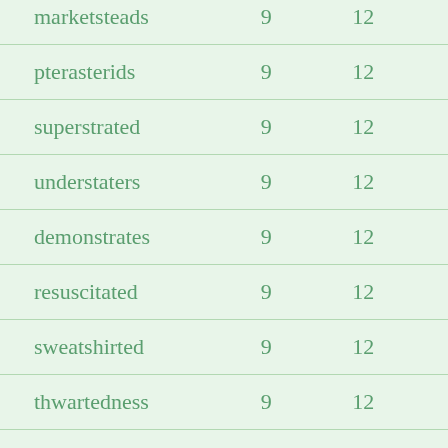| marketsteads | 9 | 12 |
| pterasterids | 9 | 12 |
| superstrated | 9 | 12 |
| understaters | 9 | 12 |
| demonstrates | 9 | 12 |
| resuscitated | 9 | 12 |
| sweatshirted | 9 | 12 |
| thwartedness | 9 | 12 |
| decretalists | 9 | 12 |
| gasterosteid | 9 | 12 |